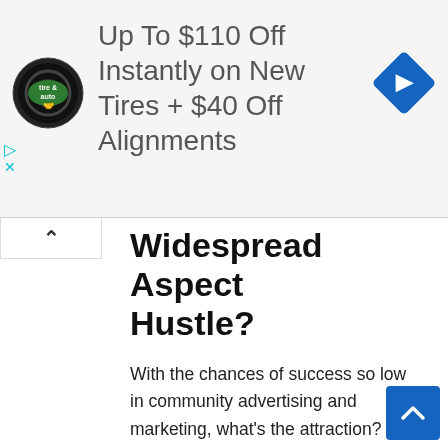[Figure (screenshot): Advertisement banner for Virginia Tire & Auto: 'Up To $110 Off Instantly on New Tires + $40 Off Alignments' with tire & auto logo on left and blue diamond navigation icon on right]
Widespread Aspect Hustle?
With the chances of success so low in community advertising and marketing, what's the attraction? What makes each new one who indicators on assume they'll be completely different?
Nicely, I believe there are a couple of causes:
These firms do a wonderful job promoting the dream (work at home, be your personal boss, promote a product you're